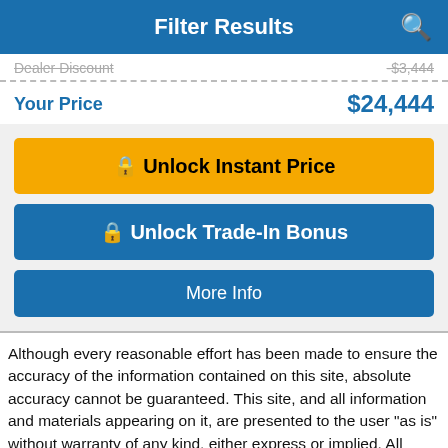Filter Results
Dealer Discount  -$3,444
Your Price  $24,444
🔒 Unlock Instant Price
🔒 Unlock Trade-In Bonus
More Info
Although every reasonable effort has been made to ensure the accuracy of the information contained on this site, absolute accuracy cannot be guaranteed. This site, and all information and materials appearing on it, are presented to the user "as is" without warranty of any kind, either express or implied. All vehicles are subject to prior sale. Price does not include